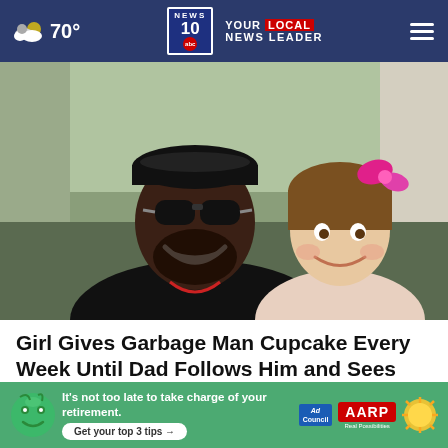70° NEWS 10 YOUR LOCAL NEWS LEADER
[Figure (photo): A smiling man wearing sunglasses and a dark cap poses with a young girl who has a pink bow in her hair, outdoors.]
Girl Gives Garbage Man Cupcake Every Week Until Dad Follows Him and Sees Why
Healthy Gem
[Figure (infographic): Advertisement banner: AARP - It's not too late to take charge of your retirement. Get your top 3 tips.]